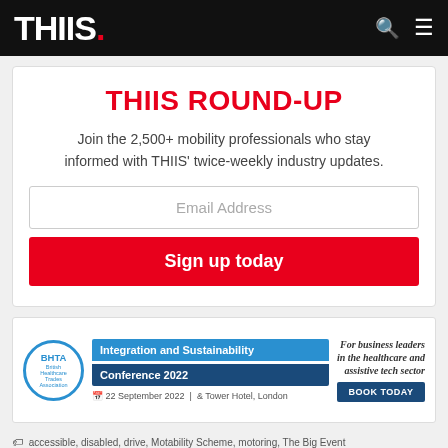THIIS.
THIIS ROUND-UP
Join the 2,500+ mobility professionals who stay informed with THIIS' twice-weekly industry updates.
Email Address
Sign up today
[Figure (infographic): BHTA Integration and Sustainability Conference 2022 advertisement. 22 September 2022 | 8 Tower Hotel, London. For business leaders in the healthcare and assistive tech sector. Book Today button.]
accessible, disabled, drive, Motability Scheme, motoring, The Big Event